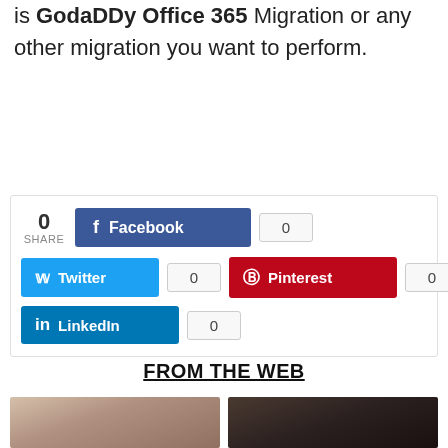is GodaDDy Office 365 Migration or any other migration you want to perform.
[Figure (infographic): Social share buttons: Facebook (0), Twitter (0), Pinterest (0), LinkedIn (0) with share count showing 0]
FROM THE WEB
[Figure (photo): Two photos side by side: young woman with brown hair, older woman with dark short hair]